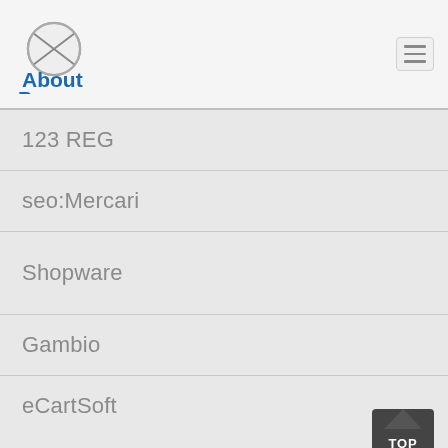About Payments
123 REG
seo:Mercari
Shopware
Gambio
eCartSoft